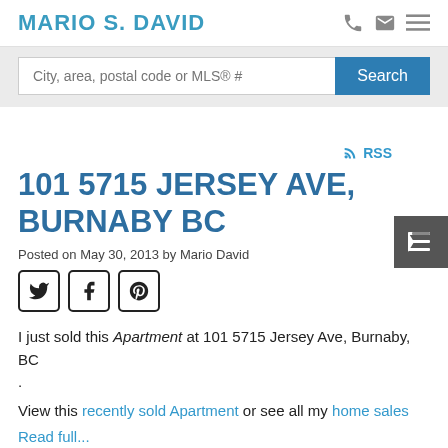MARIO S. DAVID
[Figure (screenshot): Search bar with placeholder 'City, area, postal code or MLS® #' and a blue Search button]
[Figure (screenshot): RSS icon link]
101 5715 JERSEY AVE, BURNABY BC
Posted on May 30, 2013 by Mario David
[Figure (screenshot): Social sharing icons: Twitter, Facebook, Pinterest]
I just sold this Apartment at 101 5715 Jersey Ave, Burnaby, BC .
View this recently sold Apartment or see all my home sales
Read full...